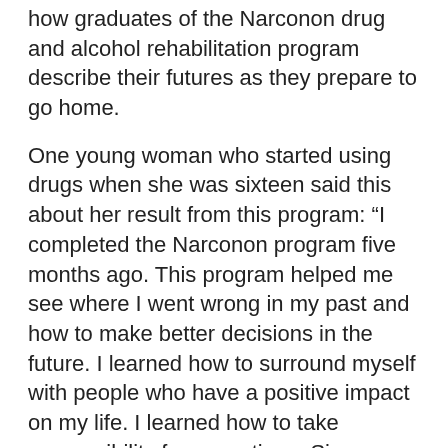how graduates of the Narconon drug and alcohol rehabilitation program describe their futures as they prepare to go home.
One young woman who started using drugs when she was sixteen said this about her result from this program: “I completed the Narconon program five months ago. This program helped me see where I went wrong in my past and how to make better decisions in the future. I learned how to surround myself with people who have a positive impact on my life. I learned how to take responsibility for my actions. Since my graduation, I have completed my GED and I have held down a full-time job at the courthouse. I scored very well on my SAT and have been accepted into college. I am very excited to start my new life.” Angel M.
See also: Signs and Symptoms of Suboxone